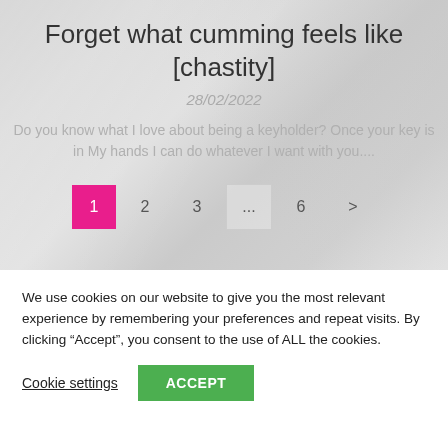Forget what cumming feels like [chastity]
28/02/2022
Do you know what I love about being a keyholder? Once your key is in My hands I can do whatever I want with you....
1 2 3 ... 6 >
We use cookies on our website to give you the most relevant experience by remembering your preferences and repeat visits. By clicking “Accept”, you consent to the use of ALL the cookies.
Cookie settings  ACCEPT